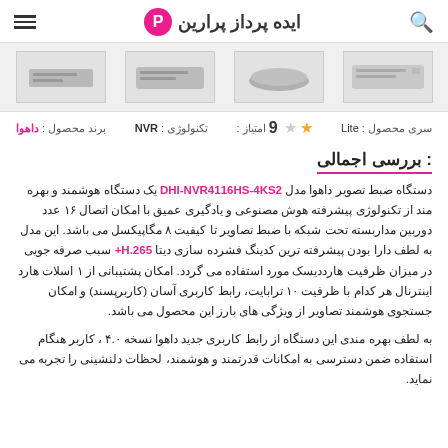ایده پرداز پرارین
[Figure (photo): Four NVR/DVR device product thumbnail images in a row on gray background]
برند محصول: داهوا   تکنولوژی: NVR   امتیاز: ★★ 9   سری محصول: Lite
بررسی اجمالی :
دستگاه ضبط تصویر داهوا مدل DHI-NVR4116HS-4KS2 یک دستگاه هوشمند و بهره مند از تکنولوژی پیشرفته هوش مصنوعی و یادگیری عمیق با امکان اتصال ۱۶ عدد دوربین مداربسته تحت شبکه با ضبط تصاویر تا کیفیت ۸ مگاپیکسل می باشد. این مدل به لطف دارا بودن پیشرفته ترین کدینگ فشرده سازی دیتا H.265+ سبب صرفه جویی در میزان ظرفیت هارددیسک مورد استفاده می گردد. امکان پشتیبانی از ۱ اسلات هارد اینترنال هر کدام با ظرفیت ۱۰ ترابایت، رابط کاربری آسان (کاربرپسند) و امکان جستجوی هوشمند تصاویر از ویژگی های بارز این محصول می باشد.
به لطف بهره مندی این دستگاه از رابط کاربری جدید داهوا نسخه ۴.۰ ، کاربر هنگام استفاده ضمن دسترسی به امکانات قدرتمند و هوشمند، لحظات دلنشینی را تجربه می نماید.